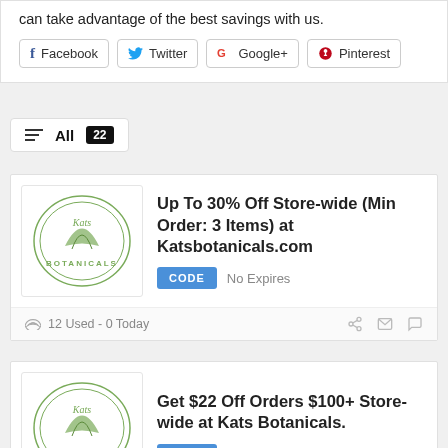can take advantage of the best savings with us.
[Figure (other): Social share buttons: Facebook, Twitter, Google+, Pinterest]
All  22
[Figure (logo): Kats Botanicals logo]
Up To 30% Off Store-wide (Min Order: 3 Items) at Katsbotanicals.com
CODE  No Expires
12 Used - 0 Today
[Figure (logo): Kats Botanicals logo]
Get $22 Off Orders $100+ Store-wide at Kats Botanicals.
CODE  No Expires